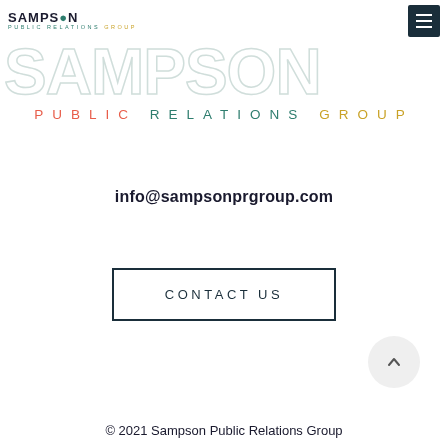SAMPSON PUBLIC RELATIONS GROUP
[Figure (logo): Sampson Public Relations Group large watermark logo with teal/salmon/gold colored text reading SAMPSON in large letters with PUBLIC RELATIONS GROUP below in spaced letters]
info@sampsonprgroup.com
CONTACT US
© 2021 Sampson Public Relations Group